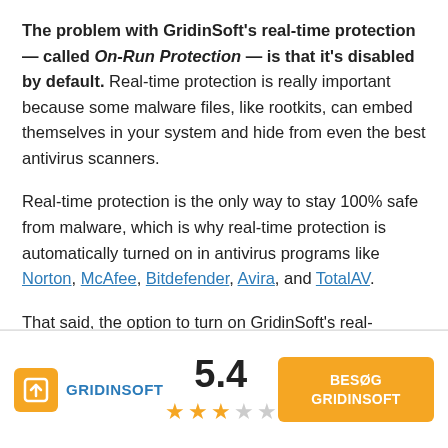The problem with GridinSoft's real-time protection — called On-Run Protection — is that it's disabled by default. Real-time protection is really important because some malware files, like rootkits, can embed themselves in your system and hide from even the best antivirus scanners.
Real-time protection is the only way to stay 100% safe from malware, which is why real-time protection is automatically turned on in antivirus programs like Norton, McAfee, Bitdefender, Avira, and TotalAV.
That said, the option to turn on GridinSoft's real-
[Figure (other): Footer bar showing GridinSoft logo with orange icon, rating score of 5.4 with 2.5 stars out of 5, and orange 'BESØG GRIDINSOFT' button]